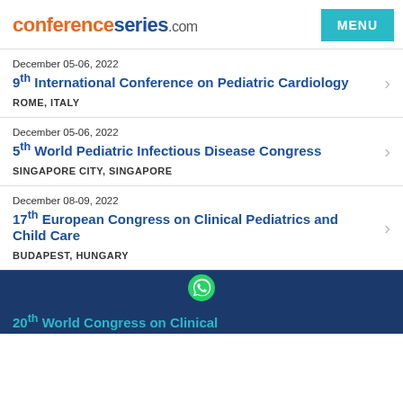conferenceseries.com
December 05-06, 2022 | 9th International Conference on Pediatric Cardiology | ROME, ITALY
December 05-06, 2022 | 5th World Pediatric Infectious Disease Congress | SINGAPORE CITY, SINGAPORE
December 08-09, 2022 | 17th European Congress on Clinical Pediatrics and Child Care | BUDAPEST, HUNGARY
20th World Congress on Clinical...